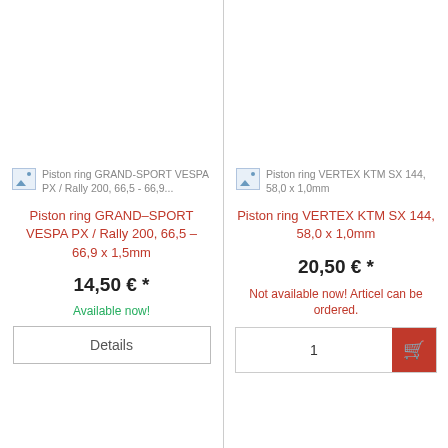[Figure (illustration): Broken image placeholder icon for Piston ring GRAND-SPORT VESPA PX / Rally 200, 66,5 - 66,9...]
Piston ring GRAND-SPORT VESPA PX / Rally 200, 66,5 – 66,9 x 1,5mm
14,50 € *
Available now!
Details
[Figure (illustration): Broken image placeholder icon for Piston ring VERTEX KTM SX 144, 58,0 x 1,0mm]
Piston ring VERTEX KTM SX 144, 58,0 x 1,0mm
20,50 € *
Not available now! Articel can be ordered.